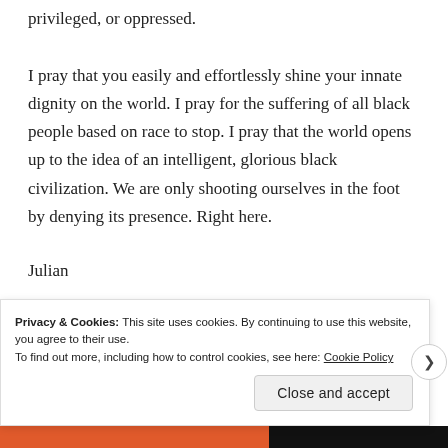privileged, or oppressed.
I pray that you easily and effortlessly shine your innate dignity on the world. I pray for the suffering of all black people based on race to stop. I pray that the world opens up to the idea of an intelligent, glorious black civilization. We are only shooting ourselves in the foot by denying its presence. Right here.
Julian
★ Like
Privacy & Cookies: This site uses cookies. By continuing to use this website, you agree to their use.
To find out more, including how to control cookies, see here: Cookie Policy
Close and accept